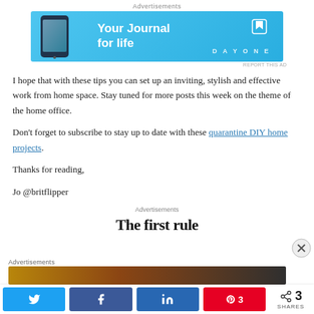[Figure (screenshot): DayOne 'Your Journal for life' advertisement banner with blue background and phone mockup]
I hope that with these tips you can set up an inviting, stylish and effective work from home space. Stay tuned for more posts this week on the theme of the home office.
Don't forget to subscribe to stay up to date with these quarantine DIY home projects.
Thanks for reading,
Jo @britflipper
Advertisements
[Figure (screenshot): Ad banner with text 'The first rule' in bold serif font, bottom advertisement]
Advertisements
[Figure (screenshot): Bottom advertisement image strip]
Social share bar with Twitter, Facebook, LinkedIn, Pinterest buttons and 3 SHARES count